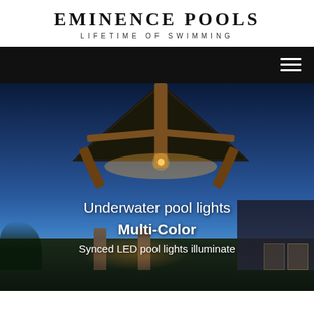EMINENCE POOLS
LIFETIME OF SWIMMING
[Figure (photo): Nighttime photo of a large wooden pavilion structure with warm lighting beneath the roof overhang, stone columns, and a deep blue sky. Text overlay reads 'Underwater pool lights Multi-Color' with partial third line visible.]
Underwater pool lights
Multi-Color
Synced LED pool lights illuminate